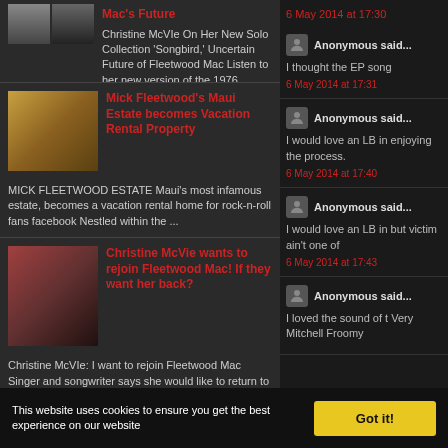Mac's Future
Christine McVIe On Her New Solo Collection 'Songbird,' Uncertain Future of Fleetwood Mac Listen to her new version of the 1976 Fleetwood Mac...
Mick Fleetwood's Maui Estate becomes Vacation Rental Property
MICK FLEETWOOD ESTATE Maui's most infamous estate, becomes a vacation rental home for rock-n-roll fans facebook Nestled within the ...
Christine McVie wants to rejoin Fleetwood Mac! If they want her back?
Christine McVIe: I want to rejoin Fleetwood Mac Singer and songwriter says she would like to return to band she left 15 years ago – if...
6 May 2014 at 17:30
Anonymous said...
I thought the EP song
6 May 2014 at 17:31
Anonymous said...
I would love an LB in enjoying the process.
6 May 2014 at 17:40
Anonymous said...
I would love an LB in but victim ain't one of
6 May 2014 at 17:43
Anonymous said...
I loved the sound of t Very Mitchell Froomy
This website uses cookies to ensure you get the best experience on our website
Got it!